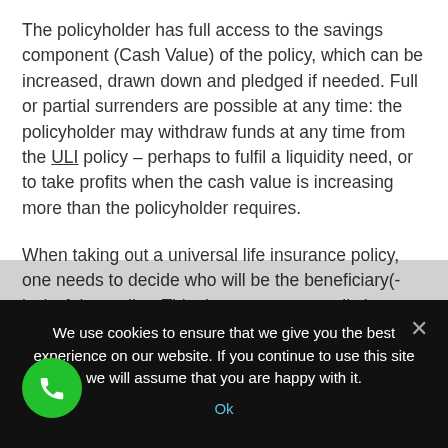The policyholder has full access to the savings component (Cash Value) of the policy, which can be increased, drawn down and pledged if needed. Full or partial surrenders are possible at any time: the policyholder may withdraw funds at any time from the ULI policy – perhaps to fulfil a liquidity need, or to take profits when the cash value is increasing more than the policyholder requires.
When taking out a universal life insurance policy, one needs to decide who will be the beneficiary(-ies) of that policy. This does not necessarily have to be a natural person it can also be a structure, such as a trust. Once the policy is in place it is possible to
We use cookies to ensure that we give you the best experience on our website. If you continue to use this site we will assume that you are happy with it.
Ok